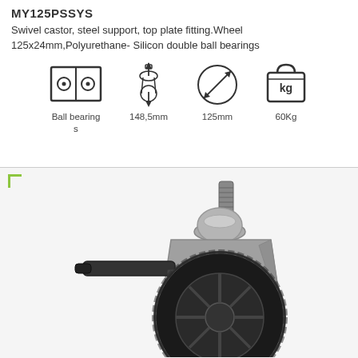MY125PSSYS
Swivel castor, steel support, top plate fitting.Wheel 125x24mm,Polyurethane- Silicon double ball bearings
[Figure (infographic): Four icons: Ball bearings (two circles in square), 148.5mm height icon, 125mm diameter icon, 60Kg weight icon]
[Figure (photo): Photo of a swivel castor with grey housing, black polyurethane wheel, brake lever, and threaded stem mount on top]